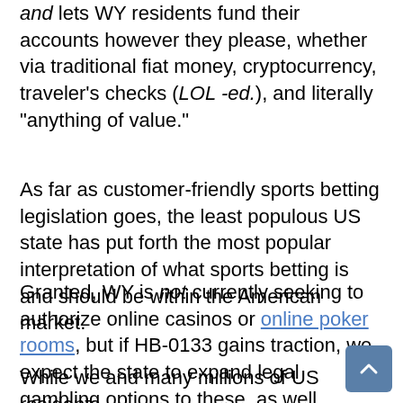and lets WY residents fund their accounts however they please, whether via traditional fiat money, cryptocurrency, traveler's checks (LOL -ed.), and literally “anything of value.”
As far as customer-friendly sports betting legislation goes, the least populous US state has put forth the most popular interpretation of what sports betting is and should be within the American market.
Granted, WY is not currently seeking to authorize online casinos or online poker rooms, but if HB-0133 gains traction, we expect the state to expand legal gambling options to these, as well.
While we and many millions of US residents